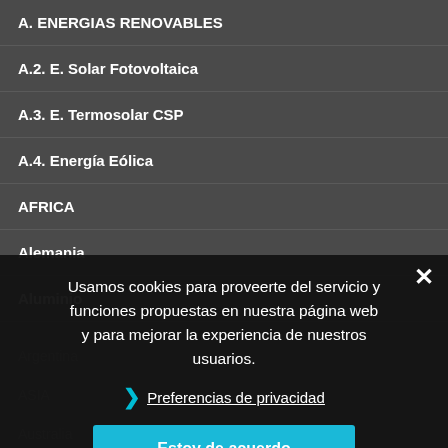A. ENERGIAS RENOVABLES
A.2. E. Solar Fotovoltaica
A.3. E. Termosolar CSP
A.4. Energía Eólica
AFRICA
Alemania
Aluminio
Argentina
ASIA
Australia
Australia
B. MINERIA Y PETROLEO
Bolivia
Usamos cookies para proveerte del servicio y funciones propuestas en nuestra página web y para mejorar la experiencia de nuestros usuarios.
❯ Preferencias de privacidad
Estoy de acuerdo